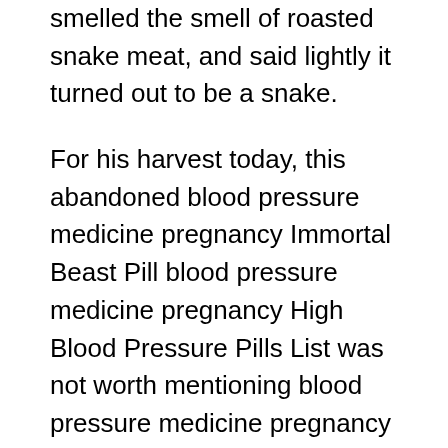smelled the smell of roasted snake meat, and said lightly it turned out to be a snake.
For his harvest today, this abandoned blood pressure medicine pregnancy Immortal Beast Pill blood pressure medicine pregnancy High Blood Pressure Pills List was not worth mentioning blood pressure medicine pregnancy at all, but it played a big role.
But this time, the speed of the Linglei Sword was extremely fast, Rao Shi Lei Yang tried to dodge it with all his blood pressure medicine pregnancy strength, but he was still caught up by the Linglei Sword, piercing his heart with a sword.
It was simply a kind of performance.Under the joint attack of the five god level masters, he was not in a hurry at all, and he handled it with clean hosue lower blood pressure ease.
Why are they here at this time Zhao Ling was a little